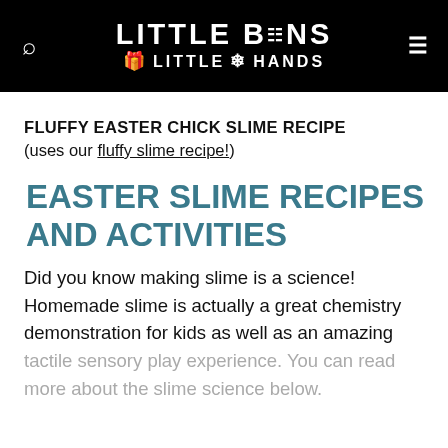LITTLE BINS LITTLE HANDS
FLUFFY EASTER CHICK SLIME RECIPE
(uses our fluffy slime recipe!)
EASTER SLIME RECIPES AND ACTIVITIES
Did you know making slime is a science! Homemade slime is actually a great chemistry demonstration for kids as well as an amazing tactile sensory play experience. You can read more about the slime science below.